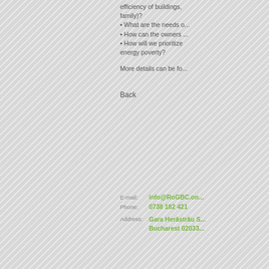efficiency of buildings, family)?
What are the needs o...
How can the owners ...
How will we prioritize energy poverty?
More details can be fo...
Back
E-mail: info@RoGBC.on... Phone: 0738 182 421
Address: Gara Herăstrău S... Bucharest 02033...